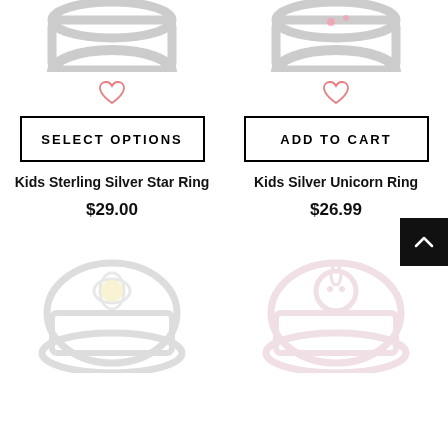[Figure (photo): Kids Sterling Silver Star Ring product image (partial, top of ring visible)]
[Figure (photo): Kids Silver Unicorn Ring product image (partial, top of ring visible with pink enamel details)]
SELECT OPTIONS
ADD TO CART
Kids Sterling Silver Star Ring
$29.00
Kids Silver Unicorn Ring
$26.99
[Figure (photo): Ring with daisy/flower design, yellow center stone, silver band — partially visible, faded]
[Figure (photo): Ring with unicorn or animal design, light pink tones — partially visible, faded]